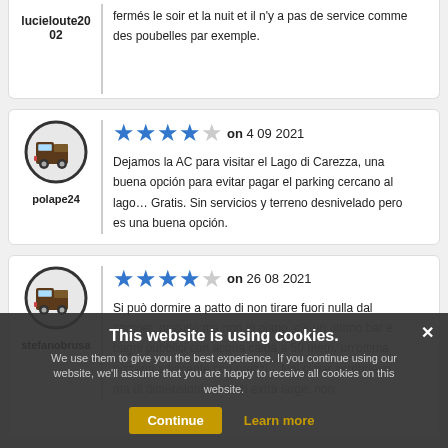lucieloute2002 — fermés le soir et la nuit et il n'y a pas de service comme des poubelles par exemple.
[Figure (illustration): Campervan icon in circle for user polape24]
polape24 — ★★★★☆ on 4 09 2021 — Dejamos la AC para visitar el Lago di Carezza, una buena opción para evitar pagar el parking cercano al lago… Gratis. Sin servicios y terreno desnivelado pero es una buena opción.
[Figure (illustration): Campervan icon in circle for user stefanobrusa]
stefanobrusa — ★★★★☆ on 26 08 2021 — Si può dormire a patto di non tirare fuori nulla dal camper, gratuito ma non in piano. c'è un ottimo bar e bagni pubblici con acqua calda a 50 metri. un'ottima pizzeria adiacente con prezzi... Noi ci par sembrievo ma di dimensioni... mezzi extra large. non
Cookie banner: This website is using cookies. We use them to give you the best experience. If you continue using our website, we'll assume that you are happy to receive all cookies on this website. [Continue] [Learn more] [X]